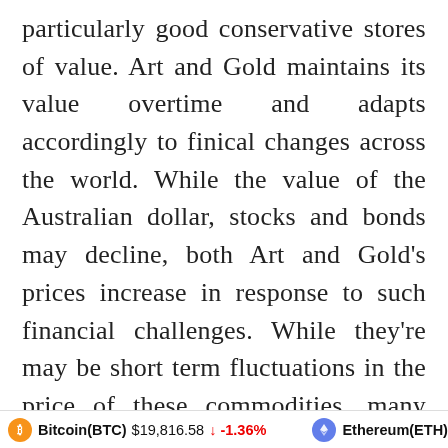particularly good conservative stores of value. Art and Gold maintains its value overtime and adapts accordingly to finical changes across the world. While the value of the Australian dollar, stocks and bonds may decline, both Art and Gold's prices increase in response to such financial challenges. While they're may be short term fluctuations in the price of these commodities, many turn to gold as an investment due to it maintaining its value in
Bitcoin(BTC) $19,816.58 ↓ -1.36%   Ethereum(ETH) $1,549.18